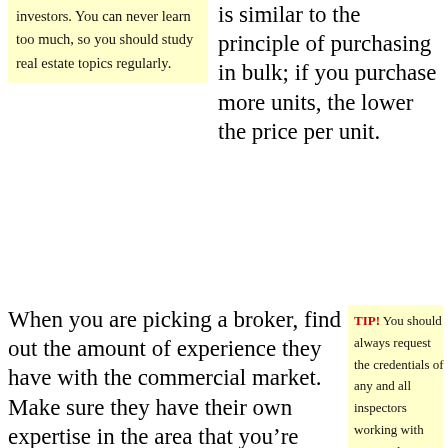investors. You can never learn too much, so you should study real estate topics regularly.
is similar to the principle of purchasing in bulk; if you purchase more units, the lower the price per unit.
When you are picking a broker, find out the amount of experience they have with the commercial market. Make sure they have their own expertise in the area that you’re selling or buying in. You should enter into an agreement that is exclusive.
TIP! You should always request the credentials of any and all inspectors working with your real estate transaction. Pest removal companies should be closely checked because many non-